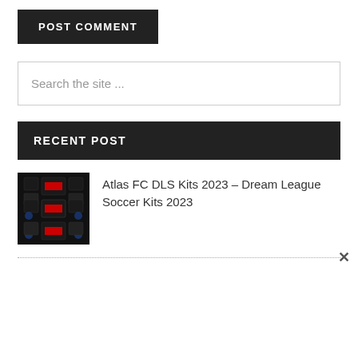POST COMMENT
[Figure (other): Search input box with placeholder text 'Search the site ...']
RECENT POST
[Figure (photo): Thumbnail image of Atlas FC DLS soccer kits layout on black background with red stripe and blue shield logos]
Atlas FC DLS Kits 2023 – Dream League Soccer Kits 2023